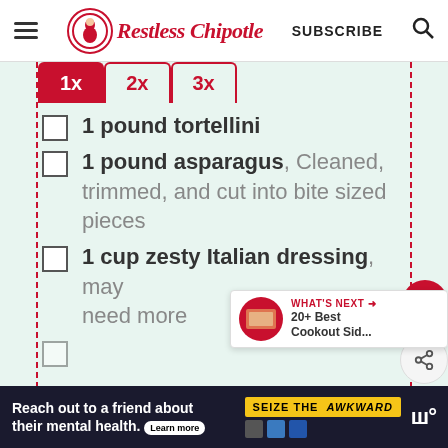Restless Chipotle — SUBSCRIBE
1 pound tortellini
1 pound asparagus, Cleaned, trimmed, and cut into bite sized pieces
1 cup zesty Italian dressing, may need more
[Figure (other): Floating heart favorite button (red circle with heart icon) and share button]
[Figure (other): What's Next promo card: 20+ Best Cookout Sid...]
[Figure (other): Ad banner: Reach out to a friend about their mental health. Seize the Awkward. Learn more.]